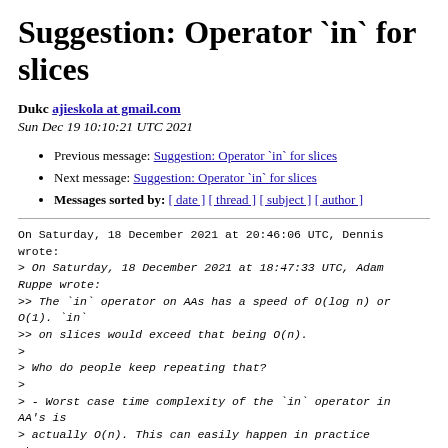Suggestion: Operator `in` for slices
Dukc ajieskola at gmail.com
Sun Dec 19 10:10:21 UTC 2021
Previous message: Suggestion: Operator `in` for slices
Next message: Suggestion: Operator `in` for slices
Messages sorted by: [ date ] [ thread ] [ subject ] [ author ]
On Saturday, 18 December 2021 at 20:46:06 UTC, Dennis wrote:
> On Saturday, 18 December 2021 at 18:47:33 UTC, Adam Ruppe wrote:
>> The `in` operator on AAs has a speed of O(log n) or O(1). `in`
>> on slices would exceed that being O(n).
>
> Who do people keep repeating that?
>
> - Worst case time complexity of the `in` operator in AA's is
> actually O(n). This can easily happen in practice when your